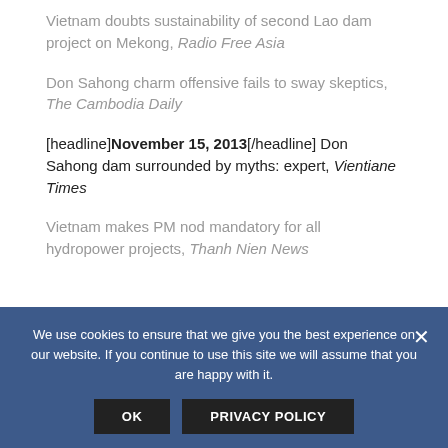Vietnam doubts sustainability of second Lao dam project on Mekong, Radio Free Asia
Don Sahong charm offensive fails to sway skeptics, The Cambodia Daily
[headline]November 15, 2013[/headline] Don Sahong dam surrounded by myths: expert, Vientiane Times
Vietnam makes PM nod mandatory for all hydropower projects, Thanh Nien News
We use cookies to ensure that we give you the best experience on our website. If you continue to use this site we will assume that you are happy with it.